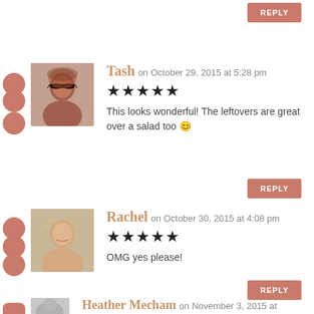REPLY
[Figure (photo): Profile photo of Tash, a woman with glasses and curly hair]
Tash on October 29, 2015 at 5:28 pm
★★★★★
This looks wonderful! The leftovers are great over a salad too 😊
REPLY
[Figure (photo): Profile photo of Rachel, a woman with blond wavy hair]
Rachel on October 30, 2015 at 4:08 pm
★★★★★
OMG yes please!
REPLY
[Figure (photo): Profile photo of Heather Mecham, gray placeholder]
Heather Mecham on November 3, 2015 at